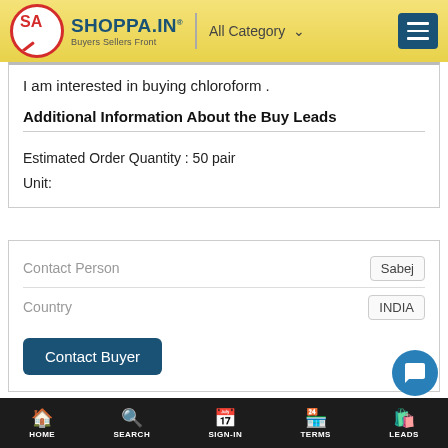SHOPPA.IN – Buyers Sellers Front | All Category
I am interested in buying chloroform .
Additional Information About the Buy Leads
Estimated Order Quantity : 50 pair
Unit:
| Field | Value |
| --- | --- |
| Contact Person | Sabej |
| Country | INDIA |
Contact Buyer
HOME   SEARCH   SIGN-IN   TERMS   LEADS